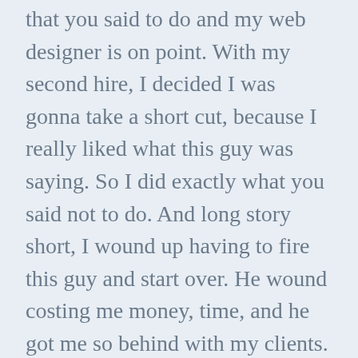that you said to do and my web designer is on point. With my second hire, I decided I was gonna take a short cut, because I really liked what this guy was saying. So I did exactly what you said not to do. And long story short, I wound up having to fire this guy and start over. He wound costing me money, time, and he got me so behind with my clients. Just like what you said it would happen.
So, I followed you steps for my third hire, and I got a rockstar content creator. With the cost of living so low in the Philippines, I love how I'm able to significantly bless 2 familes over there (the fourth VA I hired is married to my second